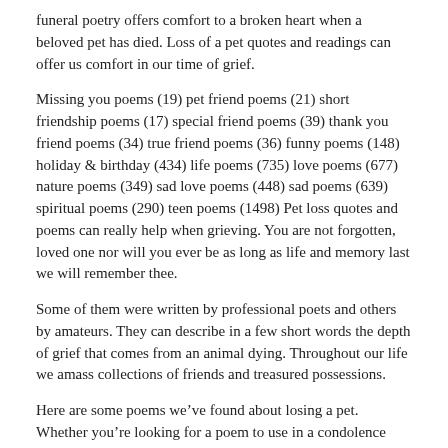funeral poetry offers comfort to a broken heart when a beloved pet has died. Loss of a pet quotes and readings can offer us comfort in our time of grief.
Missing you poems (19) pet friend poems (21) short friendship poems (17) special friend poems (39) thank you friend poems (34) true friend poems (36) funny poems (148) holiday & birthday (434) life poems (735) love poems (677) nature poems (349) sad love poems (448) sad poems (639) spiritual poems (290) teen poems (1498) Pet loss quotes and poems can really help when grieving. You are not forgotten, loved one nor will you ever be as long as life and memory last we will remember thee.
Some of them were written by professional poets and others by amateurs. They can describe in a few short words the depth of grief that comes from an animal dying. Throughout our life we amass collections of friends and treasured possessions.
Here are some poems we’ve found about losing a pet. Whether you’re looking for a poem to use in a condolence message or sympathy card for a friend who is grieving the loss of a dog, or you’re looking for a poem to include on a memorial for your own dog that has passed away, you’ve come to the right place. They are perfect for including in a sympathy card or note, perhaps with a gift.